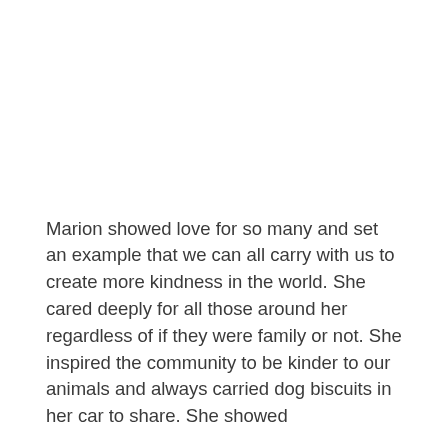Marion showed love for so many and set an example that we can all carry with us to create more kindness in the world. She cared deeply for all those around her regardless of if they were family or not. She inspired the community to be kinder to our animals and always carried dog biscuits in her car to share. She showed